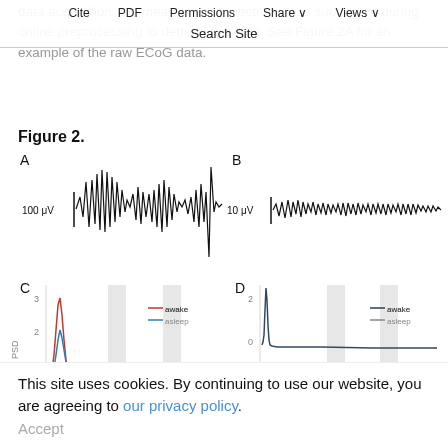data acquisition, the mean of each electrode was subtracted during online preprocessing to detrend the data. See Figure 2A for an example of the raw ECoG data.
Cite | PDF | Permissions | Share | Views | Search Site
Figure 2.
[Figure (continuous-plot): Panel A: Raw ECoG waveform with scale bar 100 μV, showing high-amplitude oscillations]
[Figure (continuous-plot): Panel B: Processed ECoG waveform with scale bar 10 μV, showing lower-amplitude oscillations]
[Figure (continuous-plot): Panel C: Power spectral density plot with y-axis up to 3, colored lines for awake (red/blue) and asleep, x-axis 0-200]
[Figure (continuous-plot): Panel D: Power spectral density plot with y-axis up to 2, lines for awake and asleep, x-axis 0-200]
This site uses cookies. By continuing to use our website, you are agreeing to our privacy policy.
Accept